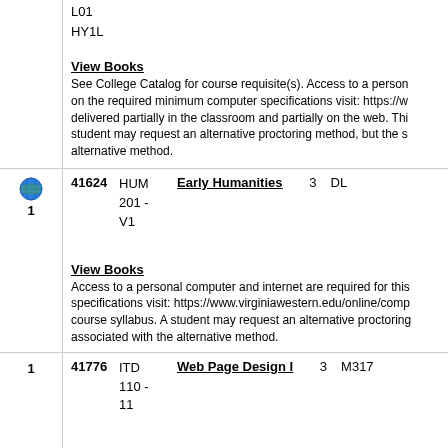L01
HY1L
View Books
See College Catalog for course requisite(s). Access to a personal computer and internet are required for this course. For information on the required minimum computer specifications visit: https://www.virginiawestern.edu/online/comp... This class is delivered partially in the classroom and partially on the web. This course utilizes online proctoring software. A student may request an alternative proctoring method, but the student is responsible for any costs associated with the alternative method.
41624  HUM 201 - V1  Early Humanities  3  DL
View Books
Access to a personal computer and internet are required for this course. For information on the required minimum computer specifications visit: https://www.virginiawestern.edu/online/comp... Please refer to the course syllabus. A student may request an alternative proctoring method, but the student is responsible for any costs associated with the alternative method.
1  41776  ITD 110 - 11  Web Page Design I  3  M317
View Books